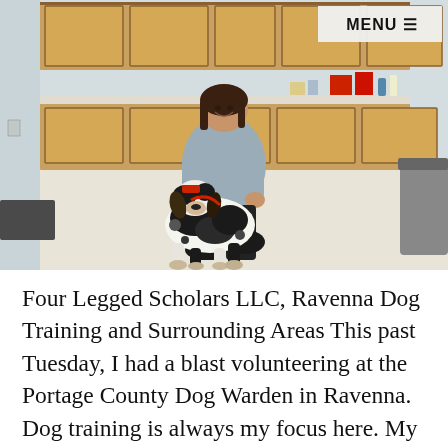[Figure (photo): A woman in a grey hoodie and black pants kneeling on a light-colored floor, posing with a black and white spotted dog (pointer/hound mix) on a leash inside what appears to be a dog shelter or veterinary facility with wooden cabinetry in the background. A MENU ≡ button is visible in the upper right corner of the photo.]
Four Legged Scholars LLC, Ravenna Dog Training and Surrounding Areas This past Tuesday, I had a blast volunteering at the Portage County Dog Warden in Ravenna. Dog training is always my focus here. My experience this past week was really fun and I had much success with the dogs. I